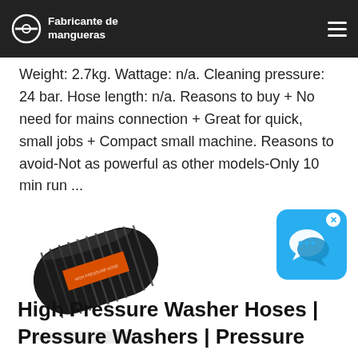Fabricante de mangueras
Weight: 2.7kg. Wattage: n/a. Cleaning pressure: 24 bar. Hose length: n/a. Reasons to buy + No need for mains connection + Great for quick, small jobs + Compact small machine. Reasons to avoid-Not as powerful as other models-Only 10 min run ...
[Figure (photo): Black ribbed hose with orange label band, shown at an angle]
[Figure (screenshot): Blue chat/messaging app popup icon with white speech bubble, with X close button]
High Pressure Washer Hoses | Pressure Washers | Pressure